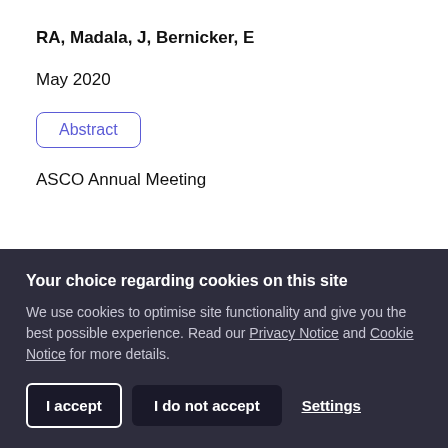RA, Madala, J, Bernicker, E
May 2020
Abstract
ASCO Annual Meeting
Your choice regarding cookies on this site
We use cookies to optimise site functionality and give you the best possible experience. Read our Privacy Notice and Cookie Notice for more details.
I accept
I do not accept
Settings